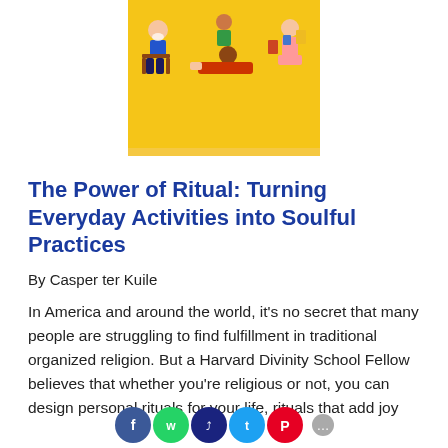[Figure (illustration): Book cover for 'The Power of Ritual' by Casper ter Kuile. Yellow background with illustrated figures of diverse people engaged in everyday activities. Author name 'CASPER TER KUILE' printed at bottom of cover.]
The Power of Ritual: Turning Everyday Activities into Soulful Practices
By Casper ter Kuile
In America and around the world, it's no secret that many people are struggling to find fulfillment in traditional organized religion. But a Harvard Divinity School Fellow believes that whether you're religious or not, you can design personal rituals for your life, rituals that add joy
[Figure (illustration): Row of social media sharing circle buttons at the bottom of the page in blue, green, dark blue, light blue, and red colors.]